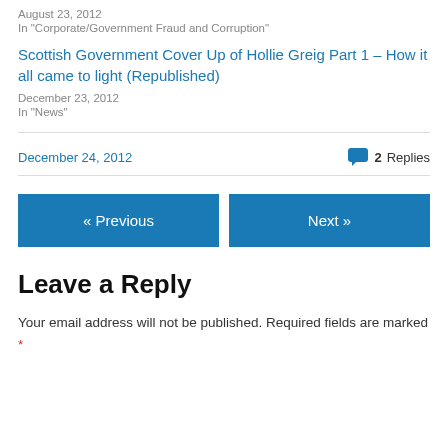August 23, 2012
In "Corporate/Government Fraud and Corruption"
Scottish Government Cover Up of Hollie Greig Part 1 – How it all came to light (Republished)
December 23, 2012
In "News"
December 24, 2012
2 Replies
« Previous
Next »
Leave a Reply
Your email address will not be published. Required fields are marked *